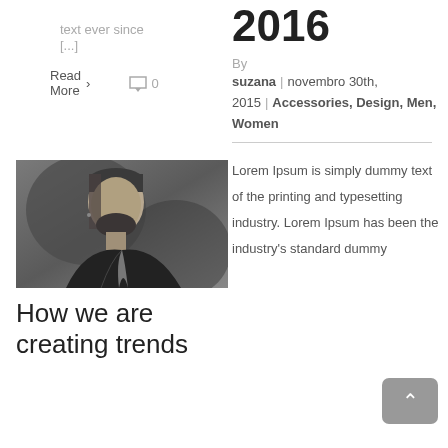text ever since
[...]
Read More
0
[Figure (photo): Black and white portrait photo of a bearded man in a leather jacket, looking to the side]
How we are creating trends
2016
By
suzana | novembro 30th, 2015 | Accessories, Design, Men, Women
Lorem Ipsum is simply dummy text of the printing and typesetting industry. Lorem Ipsum has been the industry's standard dummy